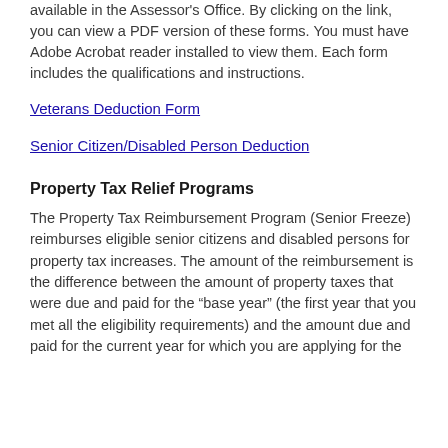available in the Assessor's Office. By clicking on the link, you can view a PDF version of these forms. You must have Adobe Acrobat reader installed to view them.  Each form includes the qualifications and instructions.
Veterans Deduction Form
Senior Citizen/Disabled Person Deduction
Property Tax Relief Programs
The Property Tax Reimbursement Program (Senior Freeze) reimburses eligible senior citizens and disabled persons for property tax increases. The amount of the reimbursement is the difference between the amount of property taxes that were due and paid for the “base year” (the first year that you met all the eligibility requirements) and the amount due and paid for the current year for which you are applying for the